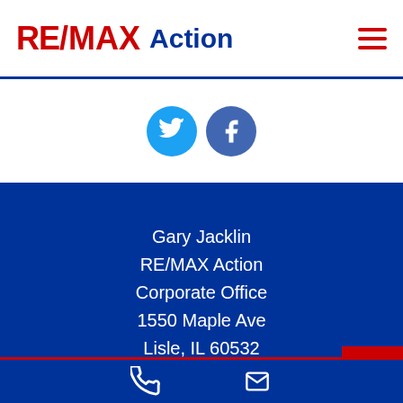RE/MAX Action
[Figure (logo): Twitter and Facebook social media icon circles]
Gary Jacklin
RE/MAX Action
Corporate Office
1550 Maple Ave
Lisle, IL 60532
[Figure (other): Phone and email contact icons at the bottom]
Back to top button with red background